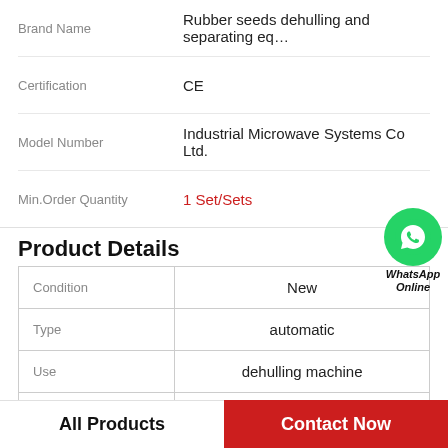| Brand Name | Rubber seeds dehulling and separating eq... |
| --- | --- |
| Brand Name | Rubber seeds dehulling and separating eq... |
| Certification | CE |
| Model Number | Industrial Microwave Systems Co Ltd. |
| Min.Order Quantity | 1 Set/Sets |
Product Details
| Condition | New |
| --- | --- |
| Condition | New |
| Type | automatic |
| Use | dehulling machine |
| Production Capacity | 300-400kg/h |
[Figure (logo): WhatsApp Online green circle phone icon with bold italic text 'WhatsApp Online']
All Products
Contact Now